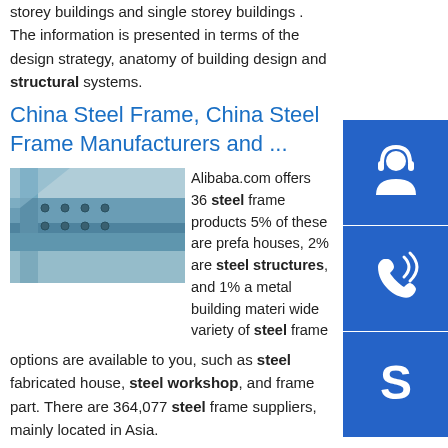storey buildings and single storey buildings . The information is presented in terms of the design strategy, anatomy of building design and structural systems.
China Steel Frame, China Steel Frame Manufacturers and ...
[Figure (photo): Close-up photo of a blue steel frame structural connection with bolts]
Alibaba.com offers 36 steel frame products 5% of these are prefab houses, 2% are steel structures, and 1% are metal building materials. A wide variety of steel frame options are available to you, such as steel fabricated house, steel workshop, and frame part. There are 364,077 steel frame suppliers, mainly located in Asia.
[Figure (other): Blue icon: headset/support representative]
[Figure (other): Blue icon: phone/call]
[Figure (other): Blue icon: Skype logo]
Message
You may also leave contact information, we will contact